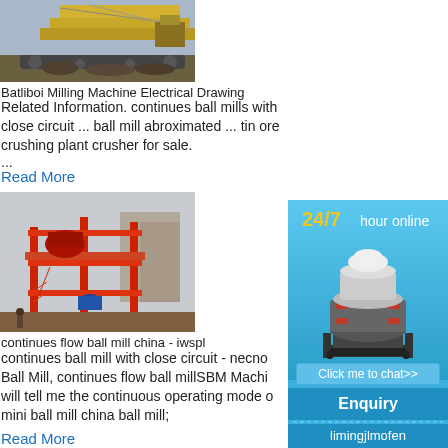[Figure (photo): Construction/mining machine photo - large yellow machinery with tracks and metal framework]
Batliboi Milling Machine Electrical Drawing
Related Information. continues ball mills with close circuit ... ball mill abroximated ... tin ore crushing plant crusher for sale.
...
Read More
[Figure (photo): Industrial plant with red metal scaffolding structure and machinery]
continues flow ball mill china - iwspl
continues ball mill with close circuit - necno is Ball Mill, continues flow ball millSBM Machi will tell me the continuous operating mode of mini ball mill china ball mill;
Read More
[Figure (infographic): 24/7 hour online sidebar ad with cone crusher machine image, Click me to chat>> button, Enquiry section, and limingjlmofen text]